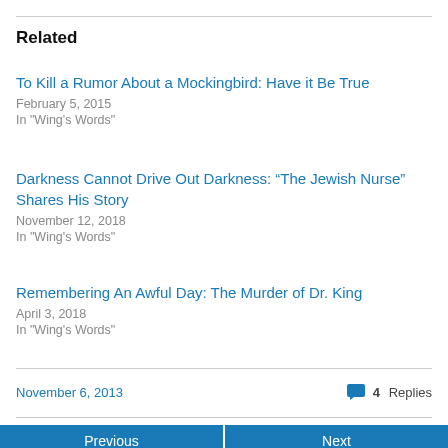Related
To Kill a Rumor About a Mockingbird: Have it Be True
February 5, 2015
In "Wing's Words"
Darkness Cannot Drive Out Darkness: “The Jewish Nurse” Shares His Story
November 12, 2018
In "Wing's Words"
Remembering An Awful Day: The Murder of Dr. King
April 3, 2018
In "Wing's Words"
November 6, 2013
4 Replies
Previous
Next